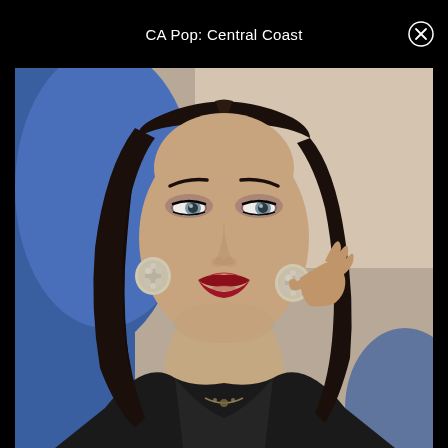CA Pop: Central Coast
[Figure (photo): Close-up portrait photo of a young woman with long dark hair, wearing large ornate silver clip-on earrings, bold red lipstick, smoky eye makeup, and a black leather jacket with a necklace. She is resting her hand near her ear and looking slightly upward. The background is blue and beige/cream.]